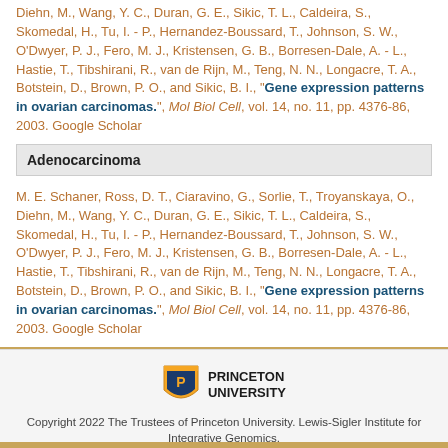Diehn, M., Wang, Y. C., Duran, G. E., Sikic, T. L., Caldeira, S., Skomedal, H., Tu, I. - P., Hernandez-Boussard, T., Johnson, S. W., O'Dwyer, P. J., Fero, M. J., Kristensen, G. B., Borresen-Dale, A. - L., Hastie, T., Tibshirani, R., van de Rijn, M., Teng, N. N., Longacre, T. A., Botstein, D., Brown, P. O., and Sikic, B. I., "Gene expression patterns in ovarian carcinomas.", Mol Biol Cell, vol. 14, no. 11, pp. 4376-86, 2003. Google Scholar
Adenocarcinoma
M. E. Schaner, Ross, D. T., Ciaravino, G., Sorlie, T., Troyanskaya, O., Diehn, M., Wang, Y. C., Duran, G. E., Sikic, T. L., Caldeira, S., Skomedal, H., Tu, I. - P., Hernandez-Boussard, T., Johnson, S. W., O'Dwyer, P. J., Fero, M. J., Kristensen, G. B., Borresen-Dale, A. - L., Hastie, T., Tibshirani, R., van de Rijn, M., Teng, N. N., Longacre, T. A., Botstein, D., Brown, P. O., and Sikic, B. I., "Gene expression patterns in ovarian carcinomas.", Mol Biol Cell, vol. 14, no. 11, pp. 4376-86, 2003. Google Scholar
[Figure (logo): Princeton University shield logo with text PRINCETON UNIVERSITY]
Copyright 2022 The Trustees of Princeton University. Lewis-Sigler Institute for Integrative Genomics.
Shortcuts   FAQs   Contact   Issues?